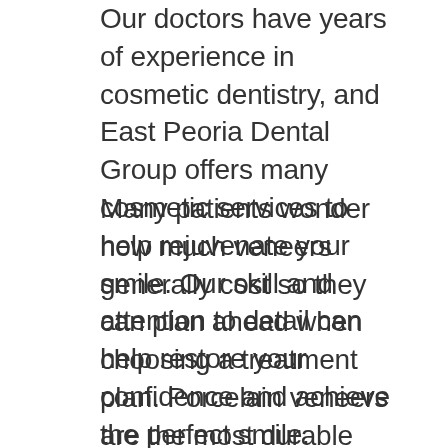Our doctors have years of experience in cosmetic dentistry, and East Peoria Dental Group offers many cosmetic services to help rejuvenate your smile. Our skill and attention to detail can help restore your confidence and achieve the perfect smile.
Many patients wonder how much veneers generally cost so they can plan ahead when choosing a treatment plan. Porcelain veneers are the most durable type of veneer and tend to cost more compared to composite veneers. On average porcelain veneers can cost between $900-$2,500 per tooth. On the other hand, composite veneers are easier to place but do cost less compared to porcelain veneers. Composite veneers are